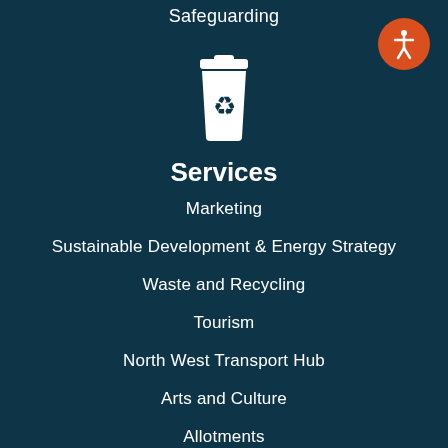Safeguarding
[Figure (illustration): White recycling bin icon with recycling arrows symbol on a dark teal background]
Services
Marketing
Sustainable Development & Energy Strategy
Waste and Recycling
Tourism
North West Transport Hub
Arts and Culture
Allotments
Births, Deaths and Marriages
Borough Statistics